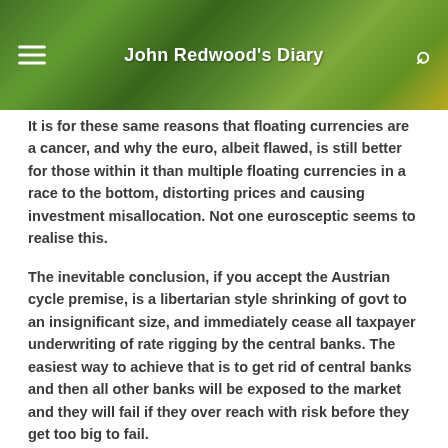John Redwood's Diary
It is for these same reasons that floating currencies are a cancer, and why the euro, albeit flawed, is still better for those within it than multiple floating currencies in a race to the bottom, distorting prices and causing investment misallocation. Not one eurosceptic seems to realise this.
The inevitable conclusion, if you accept the Austrian cycle premise, is a libertarian style shrinking of govt to an insignificant size, and immediately cease all taxpayer underwriting of rate rigging by the central banks. The easiest way to achieve that is to get rid of central banks and then all other banks will be exposed to the market and they will fail if they over reach with risk before they get too big to fail.